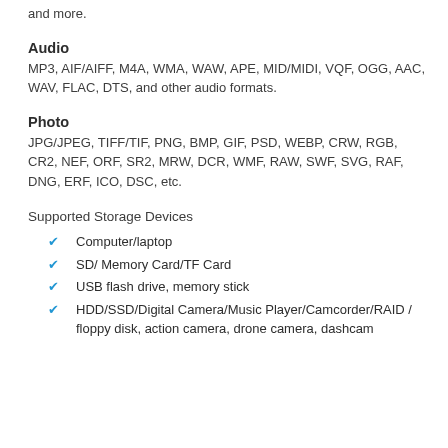and more.
Audio
MP3, AIF/AIFF, M4A, WMA, WAW, APE, MID/MIDI, VQF, OGG, AAC, WAV, FLAC, DTS, and other audio formats.
Photo
JPG/JPEG, TIFF/TIF, PNG, BMP, GIF, PSD, WEBP, CRW, RGB, CR2, NEF, ORF, SR2, MRW, DCR, WMF, RAW, SWF, SVG, RAF, DNG, ERF, ICO, DSC, etc.
Supported Storage Devices
Computer/laptop
SD/ Memory Card/TF Card
USB flash drive, memory stick
HDD/SSD/Digital Camera/Music Player/Camcorder/RAID / floppy disk, action camera, drone camera, dashcam